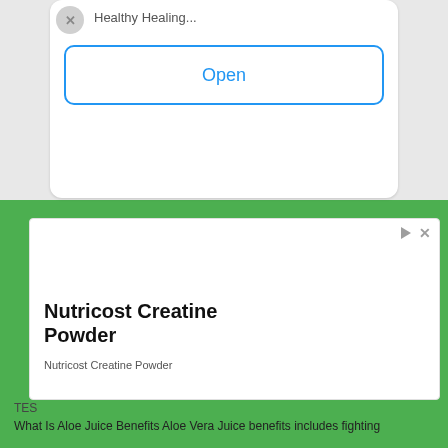Healthy Healing...
[Figure (screenshot): Open button with blue border and blue text 'Open' on a white card]
[Figure (screenshot): Advertisement card with play and close icons, showing 'Nutricost Creatine Powder' product title and subtitle]
TES
What Is Aloe Juice Benefits Aloe Vera Juice benefits includes fighting